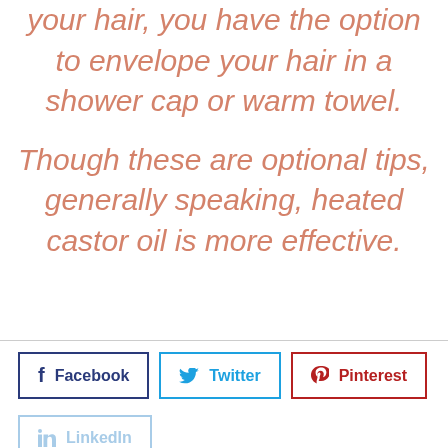your hair, you have the option to envelope your hair in a shower cap or warm towel.
Though these are optional tips, generally speaking, heated castor oil is more effective.
Facebook  Twitter  Pinterest  LinkedIn